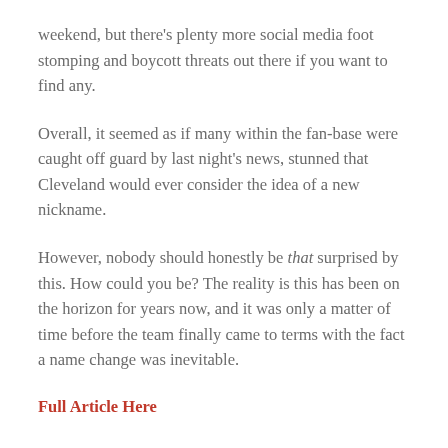weekend, but there’s plenty more social media foot stomping and boycott threats out there if you want to find any.
Overall, it seemed as if many within the fan-base were caught off guard by last night’s news, stunned that Cleveland would ever consider the idea of a new nickname.
However, nobody should honestly be that surprised by this. How could you be? The reality is this has been on the horizon for years now, and it was only a matter of time before the team finally came to terms with the fact a name change was inevitable.
Full Article Here